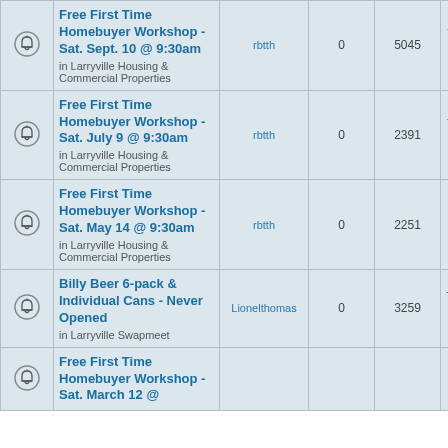|  | Topic | Author | Replies | Views | Last Post |
| --- | --- | --- | --- | --- | --- |
| [bell] | Free First Time Homebuyer Workshop - Sat. Sept. 10 @ 9:30am
in Larryville Housing & Commercial Properties | rbtth | 0 | 5045 | Wed Aug 03, 2016 1:25 pm
rbtth → |
| [bell] | Free First Time Homebuyer Workshop - Sat. July 9 @ 9:30am
in Larryville Housing & Commercial Properties | rbtth | 0 | 2391 | Tue Jun 07, 2016 11:41 am
rbtth → |
| [bell] | Free First Time Homebuyer Workshop - Sat. May 14 @ 9:30am
in Larryville Housing & Commercial Properties | rbtth | 0 | 2251 | Wed Apr 06, 2016 12:58 pm
rbtth → |
| [bell] | Billy Beer 6-pack & Individual Cans - Never Opened
in Larryville Swapmeet | Lionelthomas | 0 | 3259 | Thu Feb 25, 2016 11:20 am
Lionelthomas → |
| [bell] | Free First Time Homebuyer Workshop - Sat. March 12 @
... |  |  |  | Thu Feb 11, 2016... |